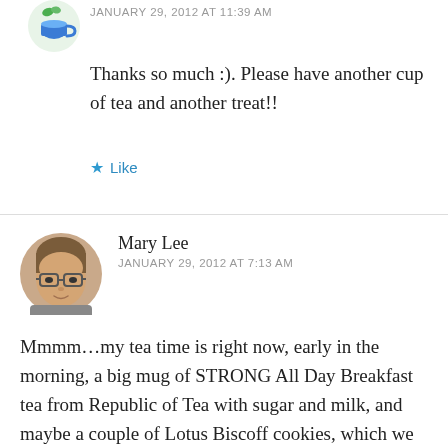JANUARY 29, 2012 AT 11:39 AM
Thanks so much :). Please have another cup of tea and another treat!!
★ Like
[Figure (photo): Round avatar photo of Mary Lee, a woman with glasses]
Mary Lee
JANUARY 29, 2012 AT 7:13 AM
Mmmm…my tea time is right now, early in the morning, a big mug of STRONG All Day Breakfast tea from Republic of Tea with sugar and milk, and maybe a couple of Lotus Biscoff cookies, which we fell in love with in Belgium last summer. Speaking of Belgium, that fascinating country, I'd give a…